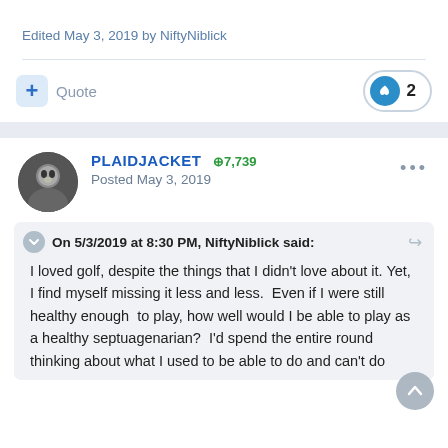Edited May 3, 2019 by NiftyNiblick
+ Quote  2
PLAIDJACKET  ⊕7,739
Posted May 3, 2019
On 5/3/2019 at 8:30 PM, NiftyNiblick said:
I loved golf, despite the things that I didn't love about it. Yet, I find myself missing it less and less.  Even if I were still healthy enough  to play, how well would I be able to play as a healthy septuagenarian?  I'd spend the entire round thinking about what I used to be able to do and can't do